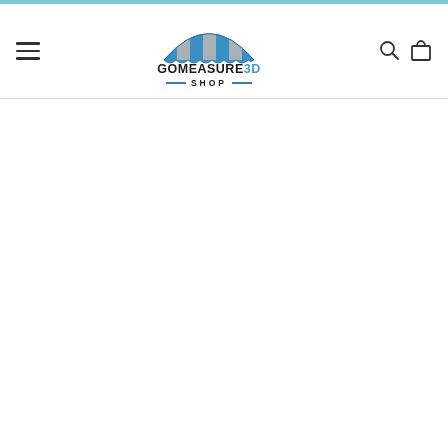[Figure (logo): GoMeasure3D Shop logo with striped awning/tent icon above the text GOMEASURE3D and SHOP with decorative lines]
White content area below the header navigation